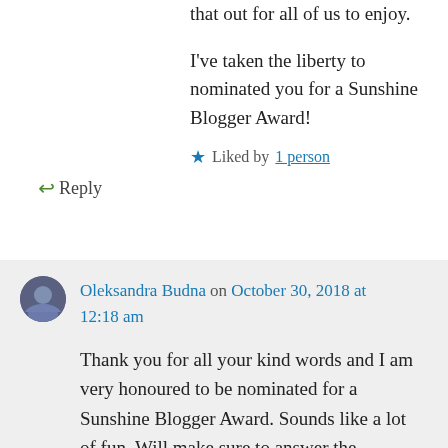that out for all of us to enjoy.
I've taken the liberty to nominated you for a Sunshine Blogger Award!
★ Liked by 1 person
↪ Reply
Oleksandra Budna on October 30, 2018 at 12:18 am
Thank you for all your kind words and I am very honoured to be nominated for a Sunshine Blogger Award. Sounds like a lot of fun. Will make sure to answer the questions and post the answers as soon as I can.